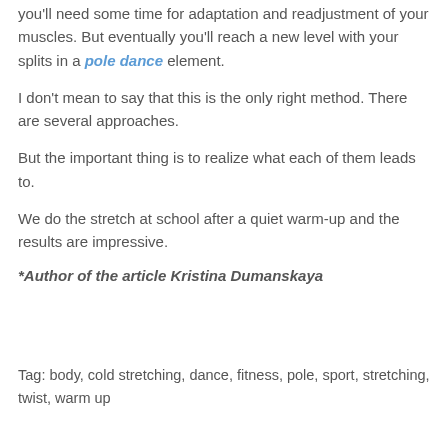you'll need some time for adaptation and readjustment of your muscles. But eventually you'll reach a new level with your splits in a pole dance element.
I don't mean to say that this is the only right method. There are several approaches.
But the important thing is to realize what each of them leads to.
We do the stretch at school after a quiet warm-up and the results are impressive.
*Author of the article Kristina Dumanskaya
Tag: body, cold stretching, dance, fitness, pole, sport, stretching, twist, warm up